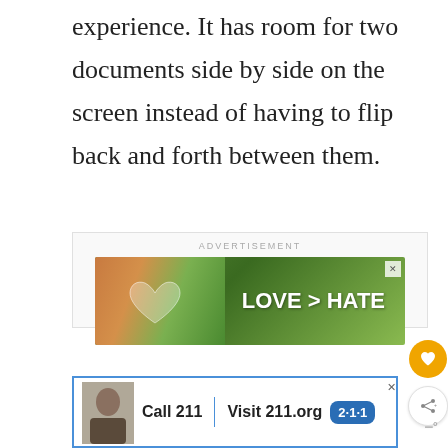experience. It has room for two documents side by side on the screen instead of having to flip back and forth between them.
[Figure (screenshot): Advertisement box with 'ADVERTISEMENT' label and a banner ad showing hands forming a heart shape with text 'LOVE > HATE' on a green background with a close (x) button]
[Figure (screenshot): Bottom advertisement bar with blue border showing 'Call 211 | Visit 211.org' with a 2-1-1 badge logo and a person's photo thumbnail]